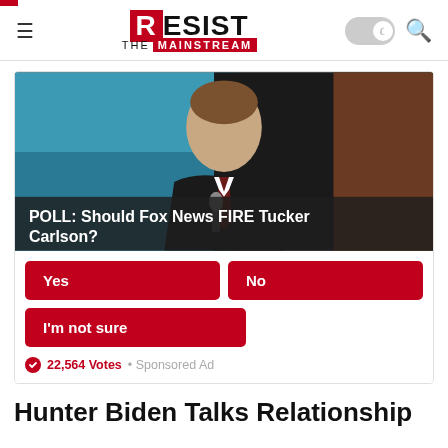Resist The Mainstream
[Figure (screenshot): Poll widget with photo of Tucker Carlson. Poll asks: Should Fox News FIRE Tucker Carlson? Options: Yes, No, I'm not sure. 22,564 Votes · Sponsored Ad]
Hunter Biden Talks Relationship